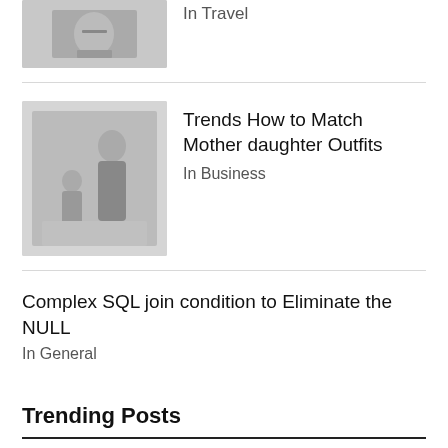[Figure (photo): Thumbnail image of person with hockey stick, travel related]
In Travel
[Figure (photo): Thumbnail of mother and daughter in matching outfits]
Trends How to Match Mother daughter Outfits
In Business
Complex SQL join condition to Eliminate the NULL
In General
Trending Posts
[Figure (photo): Thumbnail of small team working around a table with laptop]
How To Manage A Small Team?
In Business
August 11,